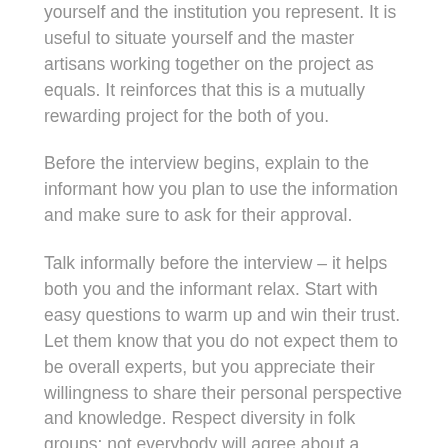yourself and the institution you represent. It is useful to situate yourself and the master artisans working together on the project as equals. It reinforces that this is a mutually rewarding project for the both of you.
Before the interview begins, explain to the informant how you plan to use the information and make sure to ask for their approval.
Talk informally before the interview – it helps both you and the informant relax. Start with easy questions to warm up and win their trust. Let them know that you do not expect them to be overall experts, but you appreciate their willingness to share their personal perspective and knowledge. Respect diversity in folk groups: not everybody will agree about a certain tradition, nor will they practice it identically.